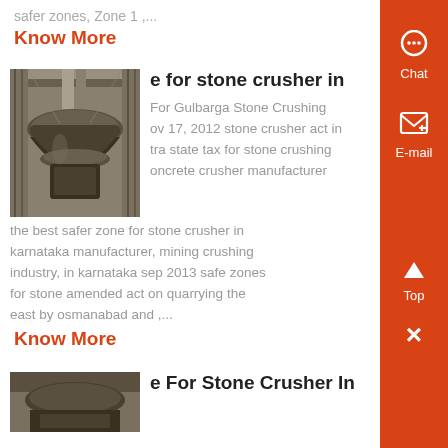safer zones, Zone 1 ,...
Know More
[Figure (photo): Industrial stone crusher machinery inside a factory setting, showing a large cone crusher with metal housing]
e for stone crusher in
For Gulbarga Stone Crushing ov 17, 2012 stone crusher act in tra state tax for stone crushing concrete crusher manufacturer the best safer zone for stone crusher in karnataka manufacturer, mining crushing industry, in karnataka sep 2013 safe zones for stone amended act on quarrying the east by osmanabad and ,...
Know More
[Figure (photo): Outdoor stone crusher machinery, partially visible at bottom of page]
e For Stone Crusher In
Chat
E-mail
Top
×